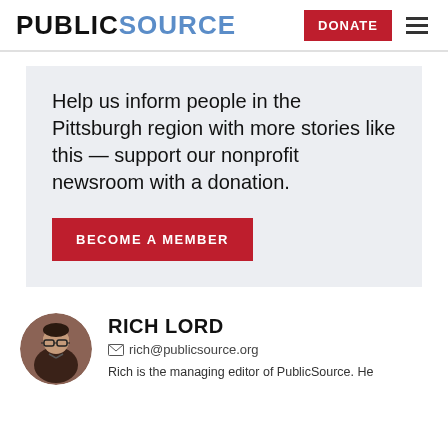PUBLICSOURCE | DONATE
Help us inform people in the Pittsburgh region with more stories like this — support our nonprofit newsroom with a donation.
BECOME A MEMBER
RICH LORD
rich@publicsource.org
Rich is the managing editor of PublicSource. He...